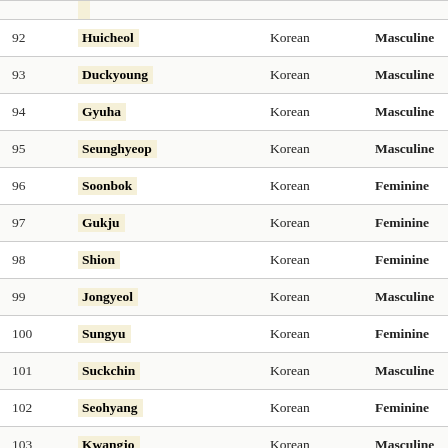| # | Name | Language | Gender |
| --- | --- | --- | --- |
| 92 | Huicheol | Korean | Masculine |
| 93 | Duckyoung | Korean | Masculine |
| 94 | Gyuha | Korean | Masculine |
| 95 | Seunghyeop | Korean | Masculine |
| 96 | Soonbok | Korean | Feminine |
| 97 | Gukju | Korean | Feminine |
| 98 | Shion | Korean | Feminine |
| 99 | Jongyeol | Korean | Masculine |
| 100 | Sungyu | Korean | Feminine |
| 101 | Suckchin | Korean | Masculine |
| 102 | Seohyang | Korean | Feminine |
| 103 | Kwangjo | Korean | Masculine |